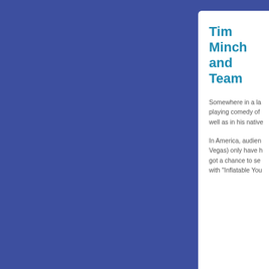Tim Minchin and Team
Somewhere in a la... playing comedy of ... well as in his native...
In America, audien... Vegas) only have h... got a chance to se... with "Inflatable You...